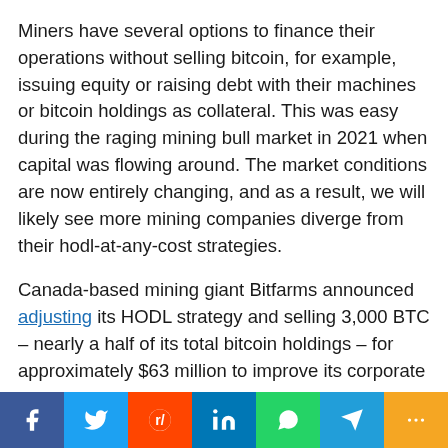Miners have several options to finance their operations without selling bitcoin, for example, issuing equity or raising debt with their machines or bitcoin holdings as collateral. This was easy during the raging mining bull market in 2021 when capital was flowing around. The market conditions are now entirely changing, and as a result, we will likely see more mining companies diverge from their hodl-at-any-cost strategies.
Canada-based mining giant Bitfarms announced adjusting its HODL strategy and selling 3,000 BTC – nearly a half of its total bitcoin holdings – for approximately $63 million to improve its corporate